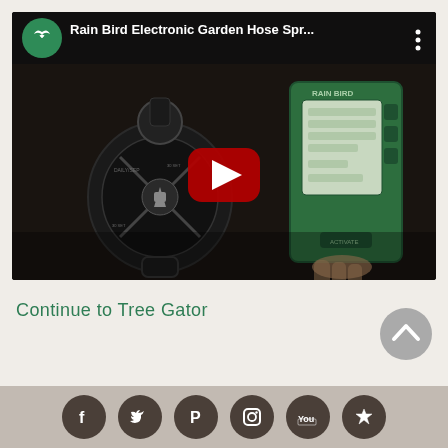[Figure (screenshot): YouTube video thumbnail showing Rain Bird Electronic Garden Hose Sprinkler Timer device being held, with a YouTube play button overlay and Rain Bird channel icon in top bar. Title reads 'Rain Bird Electronic Garden Hose Spr...' with three-dot menu icon.]
Continue to Tree Gator
[Figure (infographic): Scroll-to-top circular grey button with upward chevron arrow]
Social media icons: Facebook, Twitter, Pinterest, Instagram, YouTube, and one additional icon